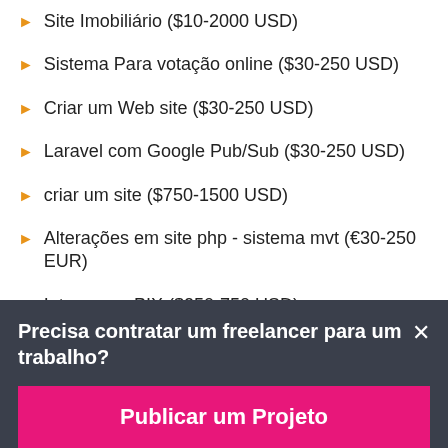Site Imobiliário ($10-2000 USD)
Sistema Para votação online ($30-250 USD)
Criar um Web site ($30-250 USD)
Laravel com Google Pub/Sub ($30-250 USD)
criar um site ($750-1500 USD)
Alterações em site php - sistema mvt (€30-250 EUR)
Integraçao PIX ($250-750 USD)
Dibujo a Grafito ($10-11 USD)
Precisa contratar um freelancer para um trabalho?
Publicar um Projeto